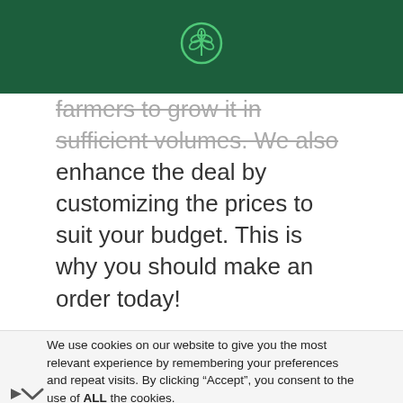[Figure (logo): Green header bar with a wheat/grain circular icon in white at the center top]
farmers to grow it in sufficient volumes. We also enhance the deal by customizing the prices to suit your budget. This is why you should make an order today!
We use cookies on our website to give you the most relevant experience by remembering your preferences and repeat visits. By clicking "Accept", you consent to the use of ALL the cookies.
[Figure (infographic): Advertisement banner for Hair Cuttery: Book a Same Day Appointment. Yellow HC logo on left, blue direction arrow on right.]